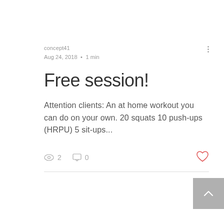concept41
Aug 24, 2018  •  1 min
Free session!
Attention clients: An at home workout you can do on your own. 20 squats 10 push-ups (HRPU) 5 sit-ups...